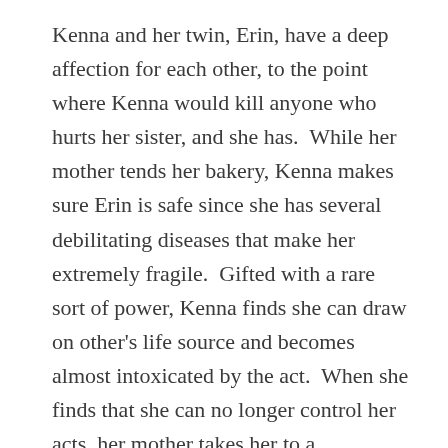Kenna and her twin, Erin, have a deep affection for each other, to the point where Kenna would kill anyone who hurts her sister, and she has.  While her mother tends her bakery, Kenna makes sure Erin is safe since she has several debilitating diseases that make her extremely fragile.  Gifted with a rare sort of power, Kenna finds she can draw on other's life source and becomes almost intoxicated by the act.  When she finds that she can no longer control her acts, her mother takes her to a mysterious commune in the mountains near her house.
Eclipse has been a closed off society that everyone in the town knows about but since